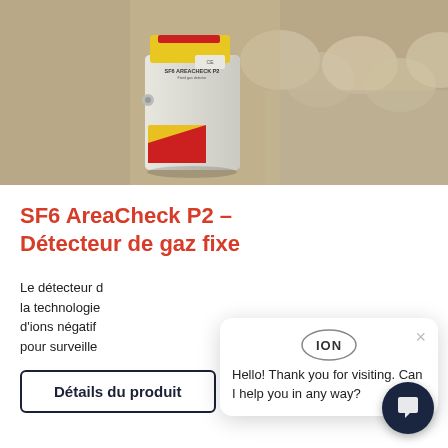[Figure (photo): SF6 AreaCheck P2 gas detector device (grey box with yellow and red label) in front of industrial equipment (gas valves/pipes in background)]
SF6 AreaCheck P2 – Détecteur de gaz fixe
Le détecteur d la technologie d'ions négatif pour surveille
[Figure (screenshot): ION chat widget overlay showing logo, close button (×), and message: Hello! Thank you for visiting. Can I help you in any way?]
Détails du produit